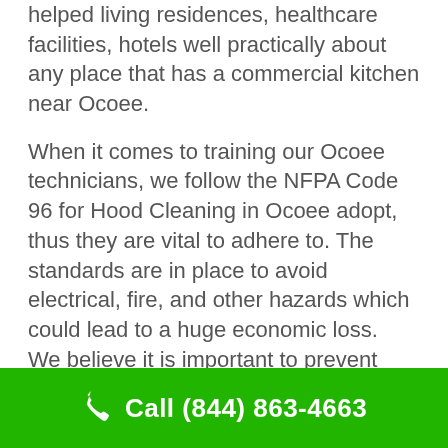helped living residences, healthcare facilities, hotels well practically about any place that has a commercial kitchen near Ocoee.
When it comes to training our Ocoee technicians, we follow the NFPA Code 96 for Hood Cleaning in Ocoee adopt, thus they are vital to adhere to. The standards are in place to avoid electrical, fire, and other hazards which could lead to a huge economic loss. We believe it is important to prevent property damage, injury and even death by making sure all technicians are thoroughly trained before they are able to go out into the field to perform top-notch hood cleaning.
The codes also specify how frequently a Ocoee commercial kitchen's hood cleaning should be
Call (844) 863-4663